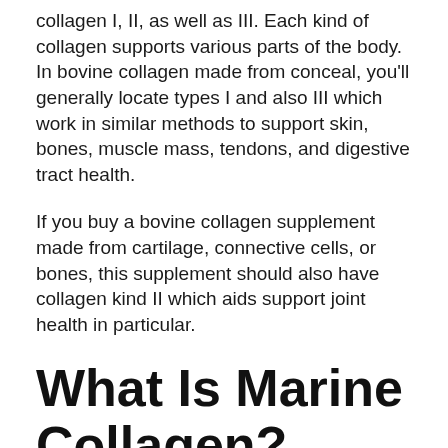collagen I, II, as well as III. Each kind of collagen supports various parts of the body. In bovine collagen made from conceal, you'll generally locate types I and also III which work in similar methods to support skin, bones, muscle mass, tendons, and digestive tract health.
If you buy a bovine collagen supplement made from cartilage, connective cells, or bones, this supplement should also have collagen kind II which aids support joint health in particular.
What Is Marine Collagen?